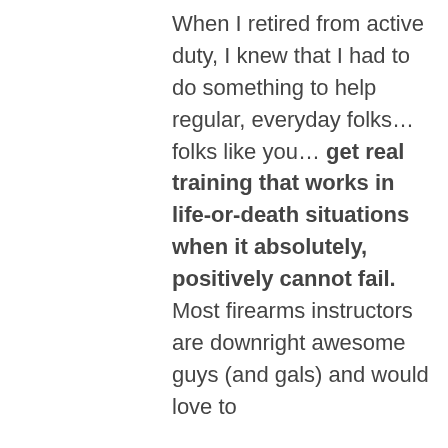When I retired from active duty, I knew that I had to do something to help regular, everyday folks… folks like you… get real training that works in life-or-death situations when it absolutely, positively cannot fail.

Most firearms instructors are downright awesome guys (and gals) and would love to